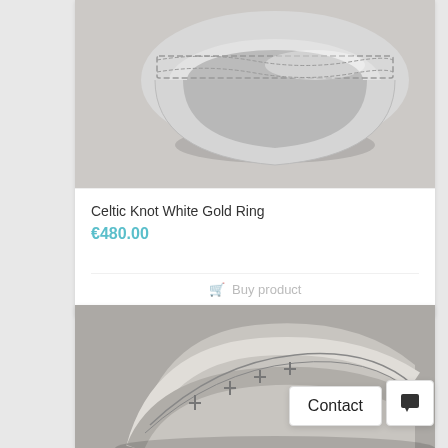[Figure (photo): Close-up photo of a Celtic Knot White Gold Ring on a light grey background, showing the intricate knotwork pattern on the band]
Celtic Knot White Gold Ring
€480.00
Buy product
[Figure (photo): Close-up photo of another silver ring with engraved markings/text on the band, on a grey background]
Contact